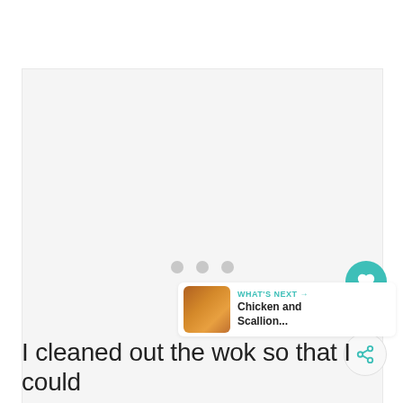[Figure (screenshot): Light gray placeholder image area with three small gray loading dots centered, representing a loading or placeholder image region in a web UI]
[Figure (screenshot): Teal circular heart/like button with heart icon showing count 12, and a share button below it on the right side of the page]
[Figure (screenshot): What's Next panel with thumbnail image and text: WHAT'S NEXT arrow, Chicken and Scallion...]
I cleaned out the wok so that I could